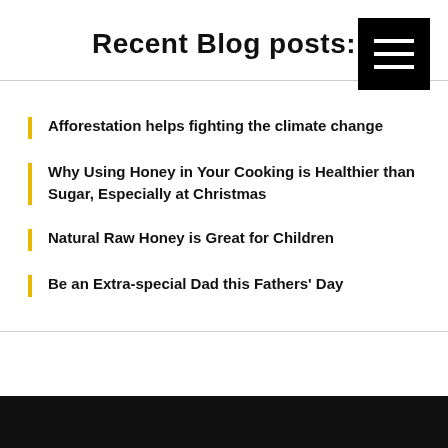[Figure (other): Hamburger menu button - black square with three white horizontal lines]
Recent Blog posts:
Afforestation helps fighting the climate change
Why Using Honey in Your Cooking is Healthier than Sugar, Especially at Christmas
Natural Raw Honey is Great for Children
Be an Extra-special Dad this Fathers' Day